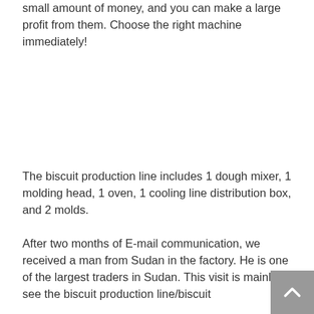small amount of money, and you can make a large profit from them. Choose the right machine immediately!
The biscuit production line includes 1 dough mixer, 1 molding head, 1 oven, 1 cooling line distribution box, and 2 molds.
After two months of E-mail communication, we received a man from Sudan in the factory. He is one of the largest traders in Sudan. This visit is mainly to see the biscuit production line/biscuit